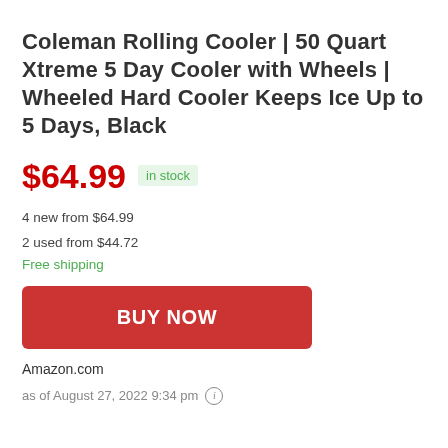Coleman Rolling Cooler | 50 Quart Xtreme 5 Day Cooler with Wheels | Wheeled Hard Cooler Keeps Ice Up to 5 Days, Black
$64.99  in stock
4 new from $64.99
2 used from $44.72
Free shipping
BUY NOW
Amazon.com
as of August 27, 2022 9:34 pm